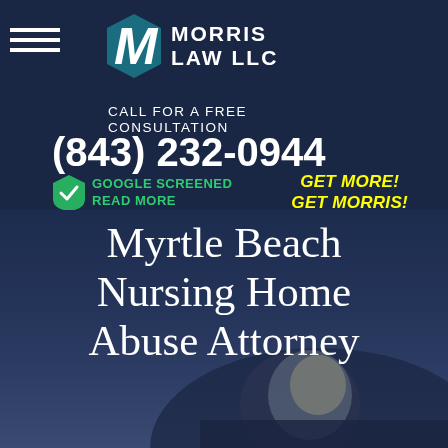[Figure (logo): Morris Law LLC logo with stylized M icon in teal/blue and white, followed by firm name MORRIS LAW LLC in bold white letters]
CALL FOR A FREE CONSULTATION
(843) 232-0944
[Figure (logo): Google Screened badge with green shield checkmark icon, text GOOGLE SCREENED READ MORE in green]
GET MORE! GET MORRIS!
Myrtle Beach Nursing Home Abuse Attorney
[Figure (photo): Elderly man with gray hair looking distressed, dimly lit background suggesting nursing home setting]